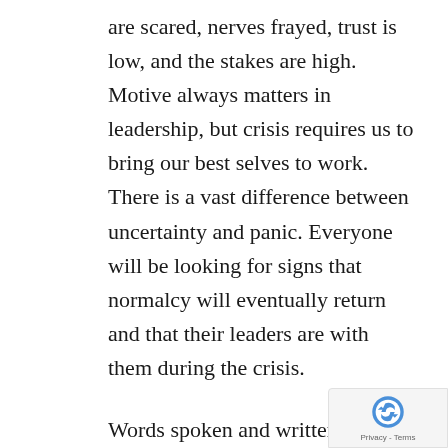are scared, nerves frayed, trust is low, and the stakes are high. Motive always matters in leadership, but crisis requires us to bring our best selves to work. There is a vast difference between uncertainty and panic. Everyone will be looking for signs that normalcy will eventually return and that their leaders are with them during the crisis.

Words spoken and written will be picked apart for hidden meaning, so clarity of communication is critical. This is also a